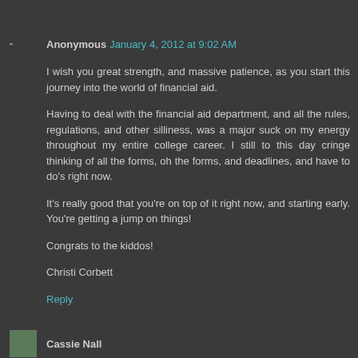Anonymous January 4, 2012 at 9:02 AM
I wish you great strength, and massive patience, as you start this journey into the world of financial aid.
Having to deal with the financial aid department, and all the rules, regulations, and other silliness, was a major suck on my energy throughout my entire college career. I still to this day cringe thinking of all the forms, oh the forms, and deadlines, and have to do's right now.
It's really good that you're on top of it right now, and starting early. You're getting a jump on things!
Congrats to the kiddos!
Christi Corbett
Reply